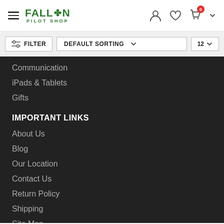Fallon Pilot Shop — header with hamburger menu, logo, user icon, heart icon, cart (0)
FILTER | DEFAULT SORTING | 12
Communication
iPads & Tablets
Gifts
IMPORTANT LINKS
About Us
Blog
Our Location
Contact Us
Return Policy
Shipping
Site Map
SUBSCRIBE NEWSLETTER